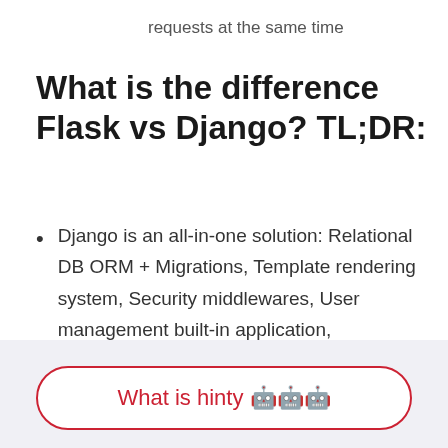requests at the same time
What is the difference Flask vs Django? TL;DR:
Django is an all-in-one solution: Relational DB ORM + Migrations, Template rendering system, Security middlewares, User management built-in application, configurable CRUD admin panel, and it is all in official
What is hinty 🤖🤖🤖